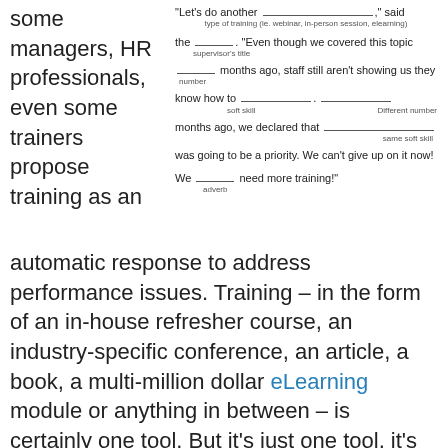some managers, HR professionals, even some trainers propose training as an
"Let's do another _____________," said [type of training (ie. webinar, in-person session, elearning)] the ________. [supervisor's title] "Even though we covered this topic _________ months ago, [number] staff still aren't showing us they know how to _________________. __________ [soft skill] [Different number] months ago, we declared that __________________ [same soft skill] was going to be a priority. We can't give up on it now! We _________ need more training!" [adverb]
automatic response to address performance issues. Training – in the form of an in-house refresher course, an industry-specific conference, an article, a book, a multi-million dollar eLearning module or anything in between – is certainly one tool. But it's just one tool, it's not the overarching solution.